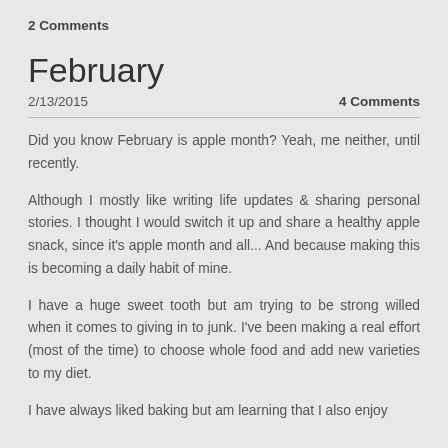2 Comments
February
2/13/2015	4 Comments
Did you know February is apple month? Yeah, me neither, until recently.
Although I mostly like writing life updates & sharing personal stories. I thought I would switch it up and share a healthy apple snack, since it's apple month and all... And because making this is becoming a daily habit of mine.
I have a huge sweet tooth but am trying to be strong willed when it comes to giving in to junk. I've been making a real effort (most of the time) to choose whole food and add new varieties to my diet.
I have always liked baking but am learning that I also enjoy